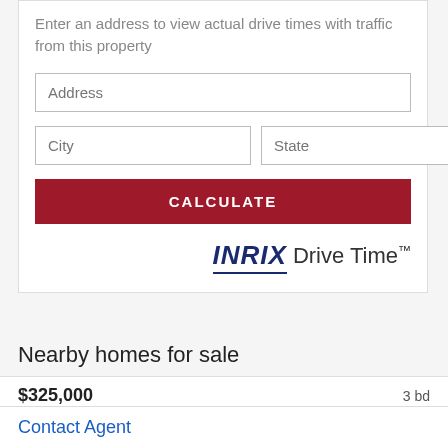Enter an address to view actual drive times with traffic from this property
Address
City
State
Zip
CALCULATE
[Figure (logo): INRIX Drive Time logo with INRIX in dark blue bold italic underlined text followed by Drive Time with trademark symbol]
Nearby homes for sale
$325,000   3 bd
Contact Agent